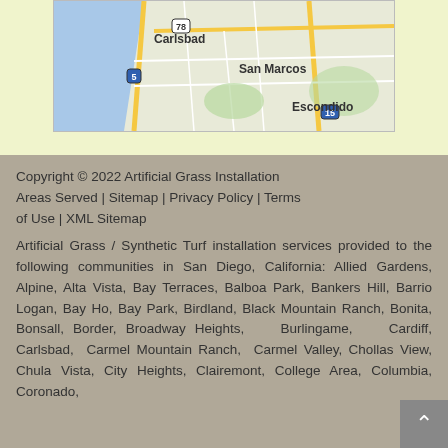[Figure (map): Partial Google Map showing Carlsbad, San Marcos, and Escondido in San Diego County, California. Shows highway 78, highway 5, and highway 15.]
Copyright © 2022 Artificial Grass Installation Areas Served | Sitemap | Privacy Policy | Terms of Use | XML Sitemap
Artificial Grass / Synthetic Turf installation services provided to the following communities in San Diego, California: Allied Gardens, Alpine, Alta Vista, Bay Terraces, Balboa Park, Bankers Hill, Barrio Logan, Bay Ho, Bay Park, Birdland, Black Mountain Ranch, Bonita, Bonsall, Border, Broadway Heights, Burlingame, Cardiff, Carlsbad, Carmel Mountain Ranch, Carmel Valley, Chollas View, Chula Vista, City Heights, Clairemont, College Area, Columbia, Coronado, Crest, Hill Del Cerro, Del Mar Heights, Del Mar...